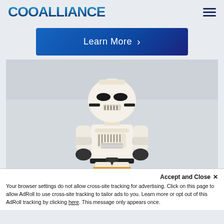COOALLIANCE
[Figure (screenshot): Blue gradient Learn More button with chevron arrow on right]
[Figure (photo): LEGO Stormtrooper minifigure standing against a light gray background]
Accept and Close ×
Your browser settings do not allow cross-site tracking for advertising. Click on this page to allow AdRoll to use cross-site tracking to tailor ads to you. Learn more or opt out of this AdRoll tracking by clicking here. This message only appears once.